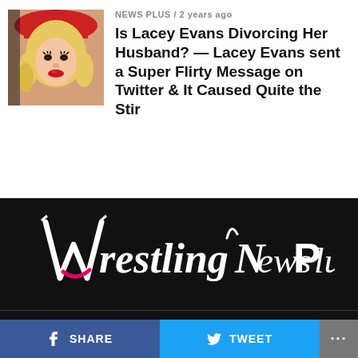[Figure (photo): Thumbnail photo of a blonde woman wearing a red hat, styled glamorously]
NEWS PLUS / 2 years ago
Is Lacey Evans Divorcing Her Husband? — Lacey Evans sent a Super Flirty Message on Twitter & It Caused Quite the Stir
[Figure (logo): Wrestling News Plus logo in white script on black background with pink accent]
ABOUT US   CONTACT US
Copyright © 2020 WRESTLING NEWS PLUS
f SHARE   TWEET   ...